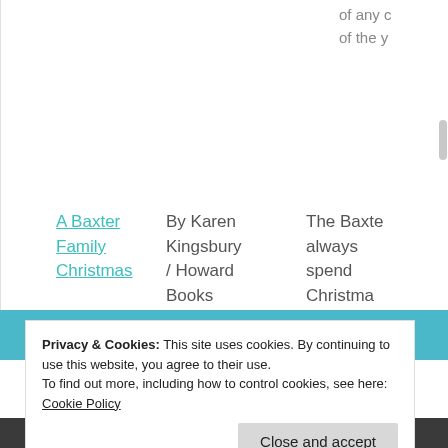of any c of the y
A Baxter Family Christmas
By Karen Kingsbury / Howard Books
The Baxter always spend Christmas together. Each family member struggles
Privacy & Cookies: This site uses cookies. By continuing to use this website, you agree to their use.
To find out more, including how to control cookies, see here: Cookie Policy
Close and accept